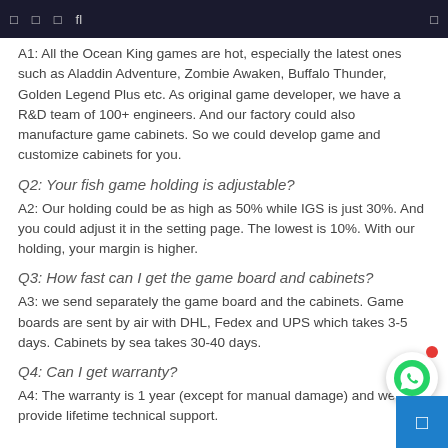navigation bar with icons
A1: All the Ocean King games are hot, especially the latest ones such as Aladdin Adventure, Zombie Awaken, Buffalo Thunder, Golden Legend Plus etc. As original game developer, we have a R&D team of 100+ engineers. And our factory could also manufacture game cabinets. So we could develop game and customize cabinets for you.
Q2: Your fish game holding is adjustable?
A2: Our holding could be as high as 50% while IGS is just 30%. And you could adjust it in the setting page. The lowest is 10%. With our holding, your margin is higher.
Q3: How fast can I get the game board and cabinets?
A3: we send separately the game board and the cabinets. Game boards are sent by air with DHL, Fedex and UPS which takes 3-5 days. Cabinets by sea takes 30-40 days.
Q4: Can I get warranty?
A4: The warranty is 1 year (except for manual damage) and we provide lifetime technical support.